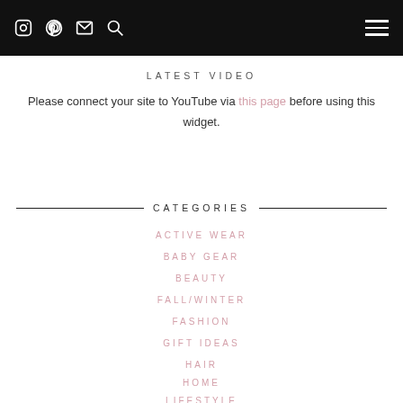icons: instagram, pinterest, email, search | hamburger menu
LATEST VIDEO
Please connect your site to YouTube via this page before using this widget.
CATEGORIES
ACTIVE WEAR
BABY GEAR
BEAUTY
FALL/WINTER
FASHION
GIFT IDEAS
HAIR
HOME
LIFESTYLE